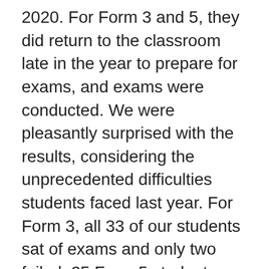2020. For Form 3 and 5, they did return to the classroom late in the year to prepare for exams, and exams were conducted. We were pleasantly surprised with the results, considering the unprecedented difficulties students faced last year. For Form 3, all 33 of our students sat of exams and only two failed. 25 Form 5 students also sat for exams, with no failures and 13 having done exceptionally well. We are very proud of the resilience our students showed throughout 2020, and continue to show now.